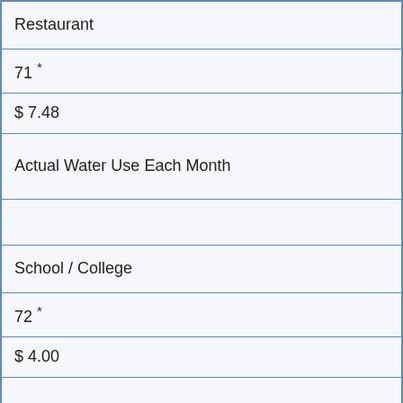| Restaurant |
| 71 * |
| $ 7.48 |
| Actual Water Use Each Month |
|  |
| School / College |
| 72 * |
| $ 4.00 |
| Actual Water Use Each Month |
|  |
| Soft Water Service |
| 73 * |